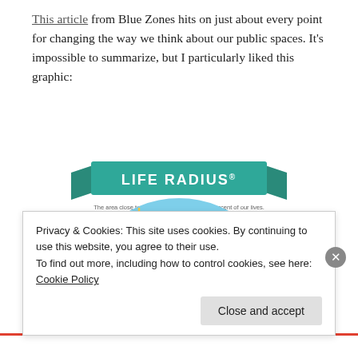This article from Blue Zones hits on just about every point for changing the way we think about our public spaces. It's impossible to summarize, but I particularly liked this graphic:
[Figure (infographic): Life Radius infographic — a banner reading 'LIFE RADIUS®' in teal/green with subtitle 'The area close to home where we spend 90 percent of our lives.' Below is an illustrated semicircular diagram of a neighborhood globe with sections labeled 'Streets, Sidewalks, Bike Lanes' and 'Parks, Trails, Town Centers', with colorful illustrated buildings, trees, people, and a sun.]
Privacy & Cookies: This site uses cookies. By continuing to use this website, you agree to their use.
To find out more, including how to control cookies, see here: Cookie Policy